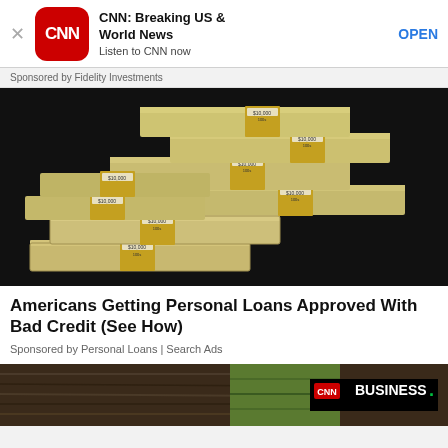[Figure (screenshot): CNN app advertisement bar with red CNN logo, title 'CNN: Breaking US & World News', subtitle 'Listen to CNN now', and OPEN button]
Sponsored by Fidelity Investments
[Figure (photo): Stack of bundled US $100 bills on dark background]
Americans Getting Personal Loans Approved With Bad Credit (See How)
Sponsored by Personal Loans | Search Ads
[Figure (screenshot): Bottom strip showing CNN Business logo on dark background with partial image of what appears to be farmland]